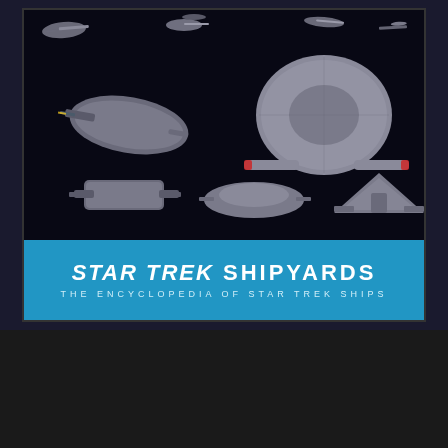[Figure (illustration): Book cover of Star Trek Shipyards: The Encyclopedia of Star Trek Ships, showing multiple Star Trek starships on a dark navy background above a blue banner with the book title]
BOOK REVIEW | STAR TREK: DEEP SPACE NINE – THE ILLUSTRATED HANDBOOK